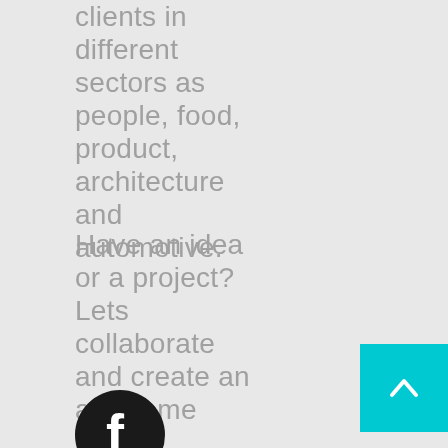clients in different sectors as people, food, product, architecture and automotive.
Have an idea or a project? Lets collaborate and create an awesome story!
[Figure (logo): Facebook logo icon — black circle with white 'f']
[Figure (other): Cyan/teal scroll-to-top button with upward chevron arrow]